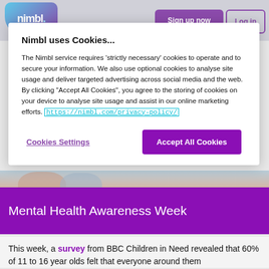[Figure (screenshot): Nimbl website header with logo, Sign up now button (purple), and Log in button (purple outline)]
Nimbl uses Cookies...
The Nimbl service requires 'strictly necessary' cookies to operate and to secure your information. We also use optional cookies to analyse site usage and deliver targeted advertising across social media and the web. By clicking "Accept All Cookies", you agree to the storing of cookies on your device to analyse site usage and assist in our online marketing efforts. https://nimbl.com/privacy-policy/
Cookies Settings
Accept All Cookies
[Figure (photo): Children sitting together, photo partially visible behind purple banner reading Mental Health Awareness Week]
Mental Health Awareness Week
This week, a survey from BBC Children in Need revealed that 60% of 11 to 16 year olds felt that everyone around them...